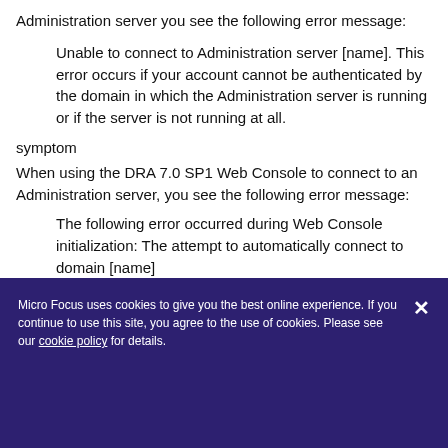Administration server you see the following error message:
Unable to connect to Administration server [name]. This error occurs if your account cannot be authenticated by the domain in which the Administration server is running or if the server is not running at all.
symptom
When using the DRA 7.0 SP1 Web Console to connect to an Administration server, you see the following error message:
The following error occurred during Web Console initialization: The attempt to automatically connect to domain [name]
Micro Focus uses cookies to give you the best online experience. If you continue to use this site, you agree to the use of cookies. Please see our cookie policy for details.